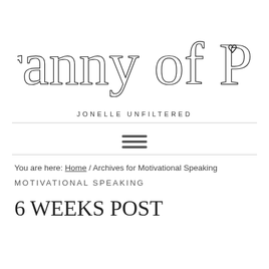[Figure (logo): Tyranny of Pink cursive script logo with a small heart after 'Pink']
JONELLE UNFILTERED
[Figure (other): Hamburger menu icon — three horizontal dark lines centered between two horizontal rules]
You are here: Home / Archives for Motivational Speaking
MOTIVATIONAL SPEAKING
6 WEEKS POST